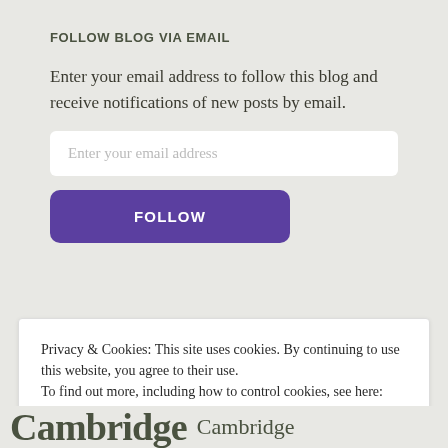FOLLOW BLOG VIA EMAIL
Enter your email address to follow this blog and receive notifications of new posts by email.
Enter your email address
FOLLOW
Privacy & Cookies: This site uses cookies. By continuing to use this website, you agree to their use.
To find out more, including how to control cookies, see here: Cookie Policy
Close and accept
Cambridge Cambridge